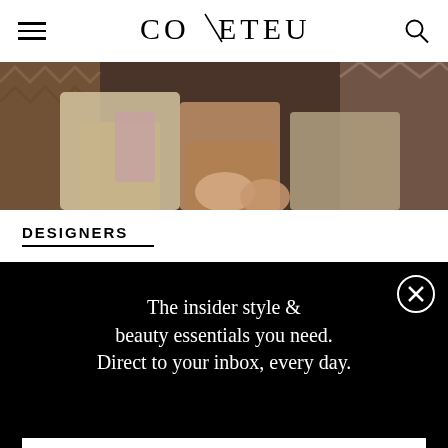COVETEUR
[Figure (photo): Fashion editorial photo showing people seated, cropped at waist/legs level, earth tones and patterned fabrics]
DESIGNERS
The insider style & beauty essentials you need. Direct to your inbox, every day.
EMAIL@EXAMPLE.COM
SIGN UP